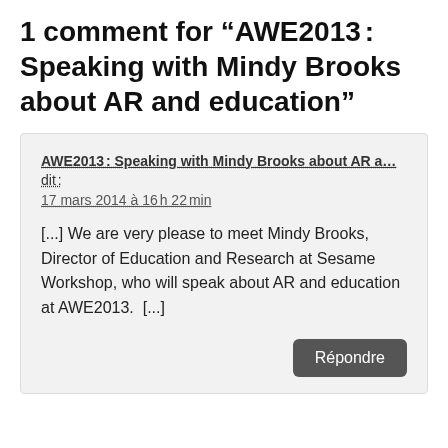1 comment for “AWE2013 : Speaking with Mindy Brooks about AR and education”
AWE2013 : Speaking with Mindy Brooks about AR a… dit :
17 mars 2014 à 16 h 22 min
[...] We are very please to meet Mindy Brooks, Director of Education and Research at Sesame Workshop, who will speak about AR and education at AWE2013. [...]